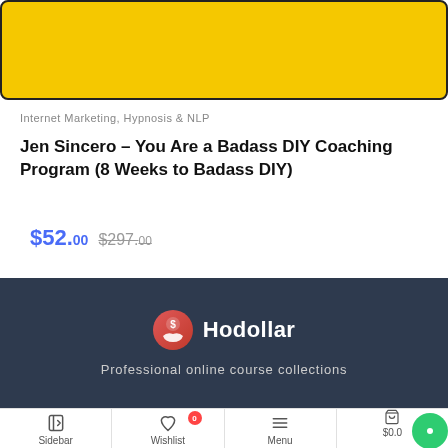[Figure (illustration): Yellow background product/course image thumbnail with dark border and rounded corners]
Internet Marketing, Hypnosis & NLP
Jen Sincero – You Are a Badass DIY Coaching Program (8 Weeks to Badass DIY)
$52.00 $297.00
[Figure (logo): Hodollar logo with icon showing hand holding dollar sign — Professional online course collections tagline]
Sidebar | Wishlist 0 | Menu | $0.00